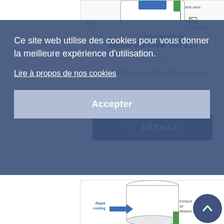[Figure (engineering-diagram): Top portion of a steam sterilizer diagram showing vent valve and other components]
Steam Sterilizer HG 113
HMC.21003
High-end line, innovative top technology
🛒 DÉTAILS
Ce site web utilise des cookies pour vous donner la meilleure expérience d'utilisation.
Lire à propos de nos cookies
Accepter
[Figure (engineering-diagram): Bottom portion showing a cylindrical steam sterilizer with Rapid cooling and Exhaust air filtration labels]